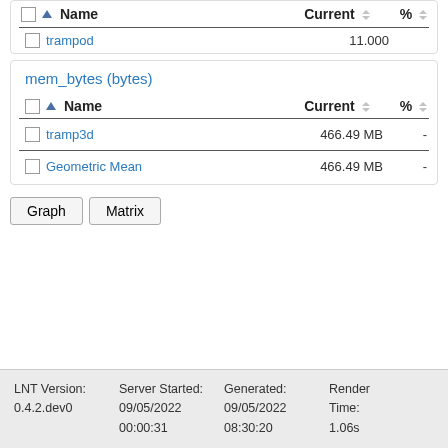|  |  | Name | Current | % |
| --- | --- | --- | --- | --- |
|  | ▲ | trampod | 11.000 |  |
|  |  | Name | Current | % |
| --- | --- | --- | --- | --- |
|  |  | tramp3d | 466.49 MB | - |
|  |  | Geometric Mean | 466.49 MB | - |
Graph
Matrix
LNT Version: 0.4.2.dev0  Server Started: 09/05/2022 00:00:31  Generated: 09/05/2022 08:30:20  Render Time: 1.06s